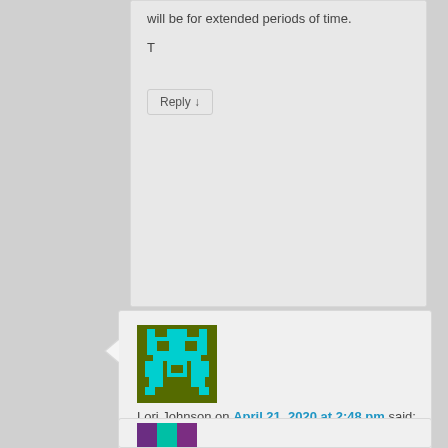will be for extended periods of time.
T
Reply ↓
Lori Johnson on April 21, 2020 at 2:48 pm said:
My work is my family ! I'd do it in a second especially if it was helping others !
Reply ↓
[Figure (illustration): Pixel art avatar - cyan robot/space invader on olive green background]
[Figure (illustration): Partial pixel art avatar - purple and teal on dark background, partially visible at bottom]